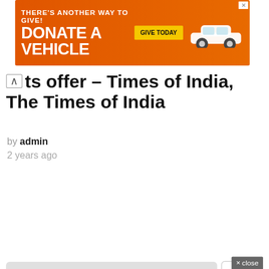[Figure (other): Banner advertisement: orange background, text 'THERE'S ANOTHER WAY TO GIVE! DONATE A VEHICLE' with yellow 'GIVE TODAY' button and white car image, X close button top right]
ts offer – Times of India, The Times of India
by admin
2 years ago
[Figure (screenshot): Research sponsored ad overlay panel with dark teal buttons: 'Current Events Articles →' and 'Best Weather Alert Radios →', header 'Research' with eye icon, Yahoo! Search | Sponsored footer]
Start th...
GIF
× close
DON'T
[Figure (other): Red circle icon with white lightning bolt (BuzzFeed-style trending indicator)]